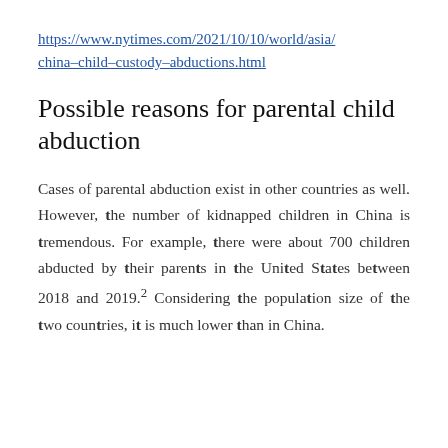https://www.nytimes.com/2021/10/10/world/asia/china-child-custody-abductions.html
Possible reasons for parental child abduction
Cases of parental abduction exist in other countries as well. However, the number of kidnapped children in China is tremendous. For example, there were about 700 children abducted by their parents in the United States between 2018 and 2019.2 Considering the population size of the two countries, it is much lower than in China.